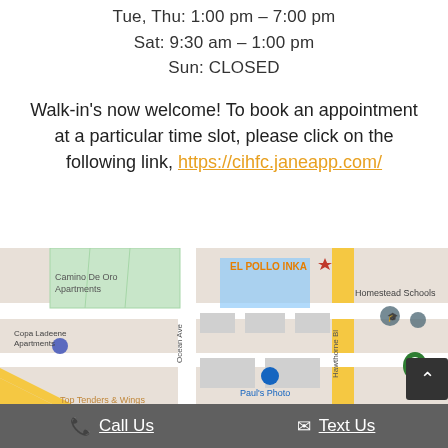Tue, Thu: 1:00 pm – 7:00 pm
Sat: 9:30 am – 1:00 pm
Sun: CLOSED
Walk-in's now welcome! To book an appointment at a particular time slot, please click on the following link, https://cihfc.janeapp.com/
[Figure (map): Google Maps screenshot showing area around Hawthorne Blvd and Ocean Ave, featuring landmarks: EL POLLO INKA, Homestead Schools, Copa Ladeene Apartments, Camino De Oro Apartments, Paul's Photo, Top Tenders & Wings]
Call Us
Text Us